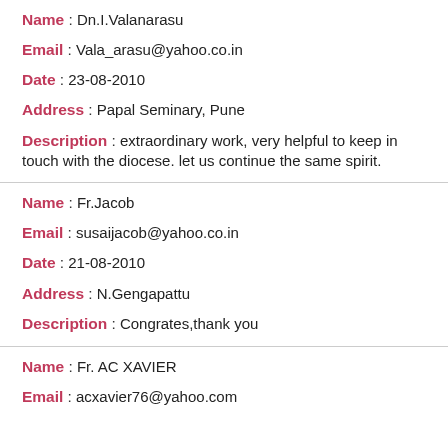Name : Dn.I.Valanarasu
Email : Vala_arasu@yahoo.co.in
Date : 23-08-2010
Address : Papal Seminary, Pune
Description : extraordinary work, very helpful to keep in touch with the diocese. let us continue the same spirit.
Name : Fr.Jacob
Email : susaijacob@yahoo.co.in
Date : 21-08-2010
Address : N.Gengapattu
Description : Congrates,thank you
Name : Fr. AC XAVIER
Email : acxavier76@yahoo.com